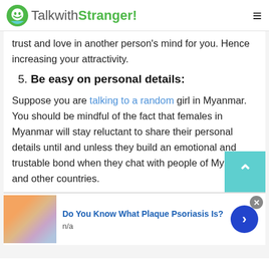TalkwithStranger!
trust and love in another person's mind for you. Hence increasing your attractivity.
5. Be easy on personal details:
Suppose you are talking to a random girl in Myanmar. You should be mindful of the fact that females in Myanmar will stay reluctant to share their personal details until and unless they build an emotional and trustable bond when they chat with people of Myanmar and other countries.
Do You Know What Plaque Psoriasis Is?
n/a